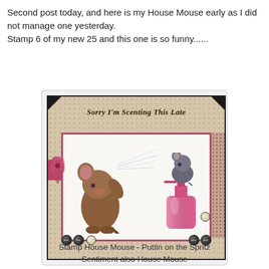Second post today, and here is my House Mouse early as I did not manage one yesterday.
Stamp 6 of my new 25 and this one is so funny......
[Figure (photo): A handmade greeting card with tan dotted background, pink ribbon, and House Mouse stamp image showing a brown mouse being spritzed by a gray mouse operating a pink perfume bottle. Sentiment reads 'Sorry I'm Scenting This Late'. Card decorated with black and cream brads/buttons.]
Stamp House Mouse - Puttin on the Spritz
Sentiment also House Mouse